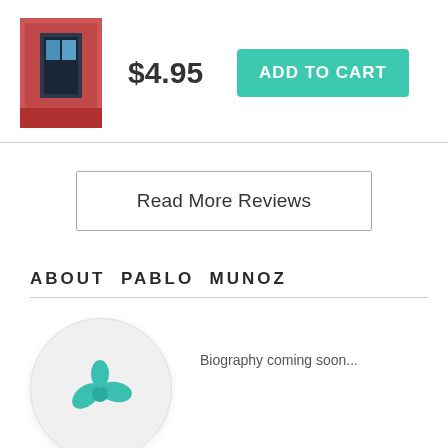[Figure (photo): Small book cover thumbnail showing a colorful door on a red/pink wall]
$4.95
ADD TO CART
Read More Reviews
ABOUT PABLO MUNOZ
[Figure (logo): Circular avatar placeholder with a teal/blue propeller or clover logo icon on light gray background]
Biography coming soon...